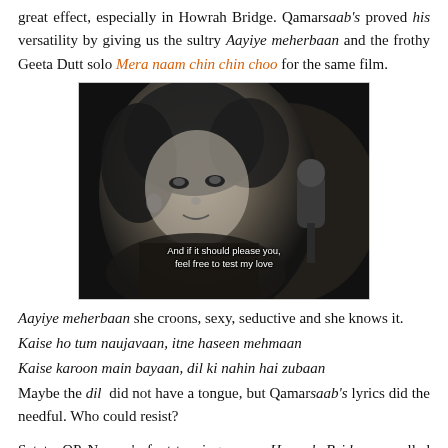great effect, especially in Howrah Bridge. Qamarsaab's proved his versatility by giving us the sultry Aayiye meherbaan and the frothy Geeta Dutt solo Mera naam chin chin choo for the same film.
[Figure (photo): Black and white film still of a woman singing, with subtitle text reading 'And if it should please you, feel free to test my love']
Aayiye meherbaan she croons, sexy, seductive and she knows it.
Kaise ho tum naujavaan, itne haseen mehmaan
Kaise karoon main bayaan, dil ki nahin hai zubaan
Maybe the dil did not have a tongue, but Qamarsaab's lyrics did the needful. Who could resist?
Set to OP Nayyar's foot-tapping score, Howrah Bridge propelled Qamarsaab to unparalleled heights of success. Mera naam chin chin choo, a runaway hit when the movie released, is one of the most re-mixed numbers today (which is a